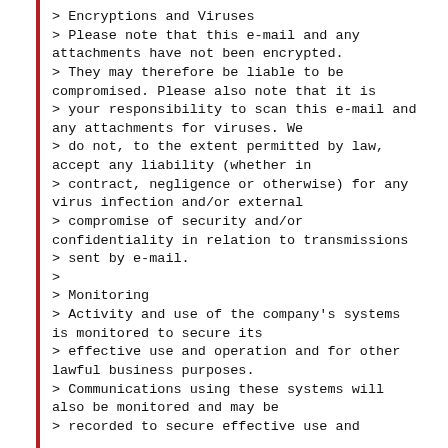> Encryptions and Viruses
> Please note that this e-mail and any attachments have not been encrypted.
> They may therefore be liable to be compromised. Please also note that it is
> your responsibility to scan this e-mail and any attachments for viruses. We
> do not, to the extent permitted by law, accept any liability (whether in
> contract, negligence or otherwise) for any virus infection and/or external
> compromise of security and/or confidentiality in relation to transmissions
> sent by e-mail.
>
> Monitoring
> Activity and use of the company's systems is monitored to secure its
> effective use and operation and for other lawful business purposes.
> Communications using these systems will also be monitored and may be
> recorded to secure effective use and